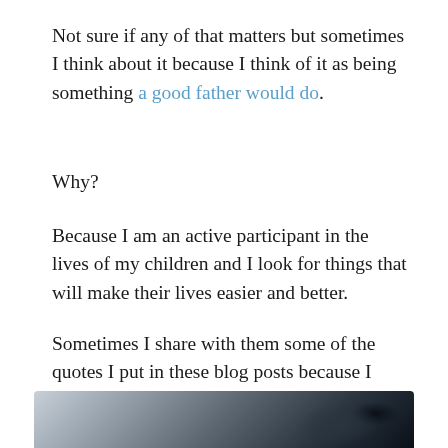Not sure if any of that matters but sometimes I think about it because I think of it as being something a good father would do.
Why?
Because I am an active participant in the lives of my children and I look for things that will make their lives easier and better.
Sometimes I share with them some of the quotes I put in these blog posts because I think they'll get something frmo them.
[Figure (photo): Partial view of a dark outdoor/nature photo, cropped at the bottom of the page]